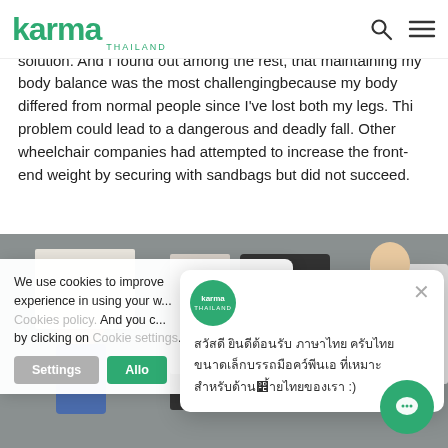karma THAILAND
A lightweight wheelchair was my first priority due to my limited living area. I had tried many brands and hoped to find a solution. And I found out among the rest, that maintaining my body balance was the most challengingbecause my body differed from normal people since I've lost both my legs. Thi problem could lead to a dangerous and deadly fall. Other wheelchair companies had attempted to increase the front-end weight by securing with sandbags but did not succeed.
[Figure (photo): Photo of people in a meeting or classroom setting, partially obscured by cookie consent banner and chat popup]
We use cookies to improve experience in using your w... Cookies policy. And you c... by clicking on Cookie settings.
karma THAILAND (Thai text chat popup message)